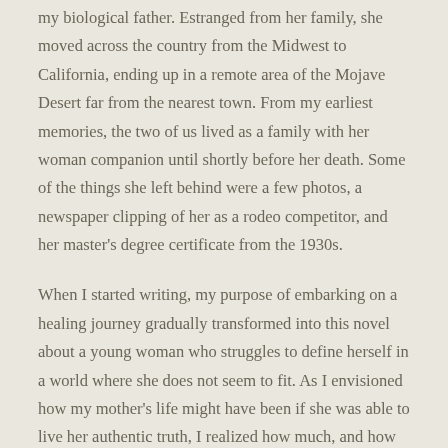my biological father. Estranged from her family, she moved across the country from the Midwest to California, ending up in a remote area of the Mojave Desert far from the nearest town. From my earliest memories, the two of us lived as a family with her woman companion until shortly before her death. Some of the things she left behind were a few photos, a newspaper clipping of her as a rodeo competitor, and her master's degree certificate from the 1930s.
When I started writing, my purpose of embarking on a healing journey gradually transformed into this novel about a young woman who struggles to define herself in a world where she does not seem to fit. As I envisioned how my mother's life might have been if she was able to live her authentic truth, I realized how much, and how little, has changed for the LGBTQ+ community. It is my hope that this story about the healing power of love will positively influence anyone who reads it.